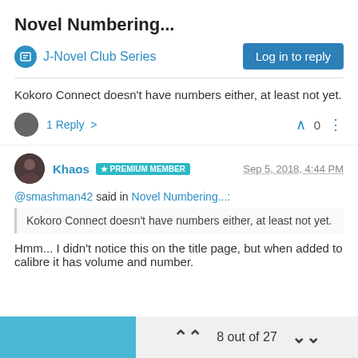Novel Numbering...
J-Novel Club Series
Log in to reply
Kokoro Connect doesn't have numbers either, at least not yet.
1 Reply >  0
Khaos  PREMIUM MEMBER   Sep 5, 2018, 4:44 PM
@smashman42 said in Novel Numbering...:
Kokoro Connect doesn't have numbers either, at least not yet.
Hmm... I didn't notice this on the title page, but when added to calibre it has volume and number.
8 out of 27